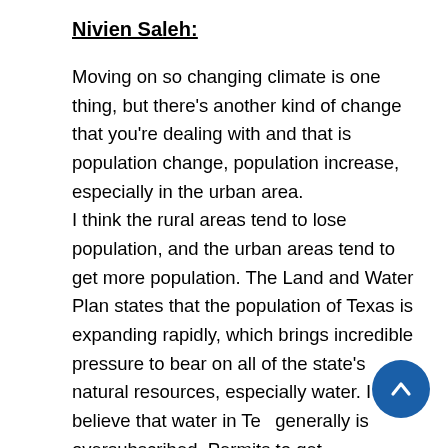Nivien Saleh:
Moving on so changing climate is one thing, but there’s another kind of change that you’re dealing with and that is population change, population increase, especially in the urban area.
I think the rural areas tend to lose population, and the urban areas tend to get more population. The Land and Water Plan states that the population of Texas is expanding rapidly, which brings incredible pressure to bear on all of the state’s natural resources, especially water. I believe that water in Te… generally is oversubscribed. Permits to get